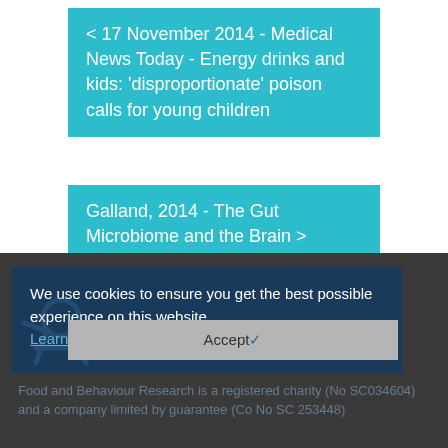< 17 November 2014 - Medical News Today - Energy drinks and kids: 'disproportionate' poison calls for young children
Galland, 2014 - The Gut Microbiome and the Brain >
We use cookies to ensure you get the best possible experience on this website. Learn more...
Accept✓
Food and Behaviour Research is a registered charity (No SC034604) and a company limited by guarantee (Co No SC 253448)